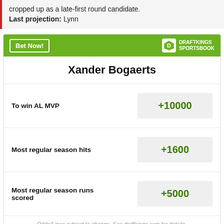cropped up as a late-first round candidate.
Last projection: Lynn
| Bet | Odds |
| --- | --- |
| To win AL MVP | +10000 |
| Most regular season hits | +1600 |
| Most regular season runs scored | +5000 |
Xander Bogaerts
Odds/Lines subject to change. See draftkings.com for details.
[Figure (other): AD banner at bottom]